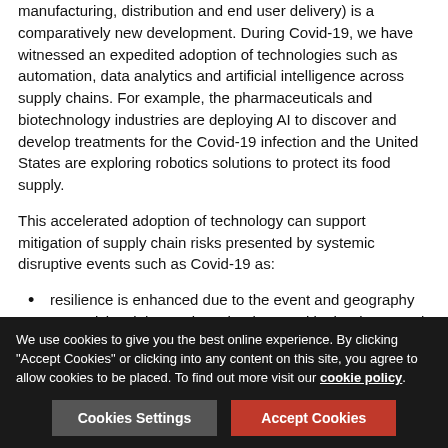manufacturing, distribution and end user delivery) is a comparatively new development. During Covid-19, we have witnessed an expedited adoption of technologies such as automation, data analytics and artificial intelligence across supply chains. For example, the pharmaceuticals and biotechnology industries are deploying AI to discover and develop treatments for the Covid-19 infection and the United States are exploring robotics solutions to protect its food supply.
This accelerated adoption of technology can support mitigation of supply chain risks presented by systemic disruptive events such as Covid-19 as:
resilience is enhanced due to the event and geography agnosticism inherent in technology and in the decreased reliance on human workforces
We use cookies to give you the best online experience. By clicking "Accept Cookies" or clicking into any content on this site, you agree to allow cookies to be placed. To find out more visit our cookie policy.